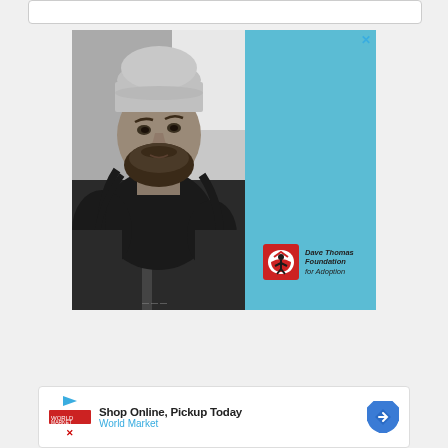[Figure (screenshot): Top UI element: rounded rectangle search/input box with white background and light grey border]
[Figure (photo): Advertisement banner. Left half: black and white photo of a young man with a beanie hat, long curly hair, beard, wearing a leather jacket. Right half: light blue background with Dave Thomas Foundation for Adoption logo (red square with white heart and figure) and text 'Dave Thomas Foundation for Adoption' in italic. Close (X) button in top right corner.]
[Figure (screenshot): Bottom advertisement banner: white rounded box with play button, World Market / Cost Plus logo, text 'Shop Online, Pickup Today' and 'World Market' in blue, and a blue diamond-shaped map/directions icon on the right.]